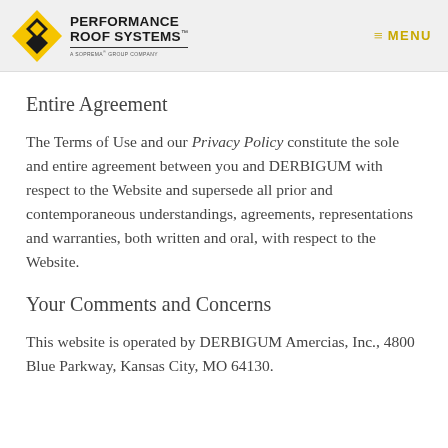Performance Roof Systems™ — A SOPREMA GROUP COMPANY | MENU
Entire Agreement
The Terms of Use and our Privacy Policy constitute the sole and entire agreement between you and DERBIGUM with respect to the Website and supersede all prior and contemporaneous understandings, agreements, representations and warranties, both written and oral, with respect to the Website.
Your Comments and Concerns
This website is operated by DERBIGUM Amercias, Inc., 4800 Blue Parkway, Kansas City, MO 64130.